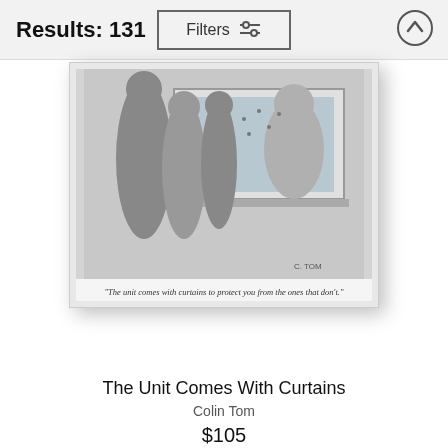Results: 131
Filters
[Figure (illustration): A cartoon by Colin Tom showing people looking out an apartment window, with the caption: 'The unit comes with curtains to protect you from the ones that don't.']
The Unit Comes With Curtains
Colin Tom
$105
Alternate Sites For The U.n
Roz Chast